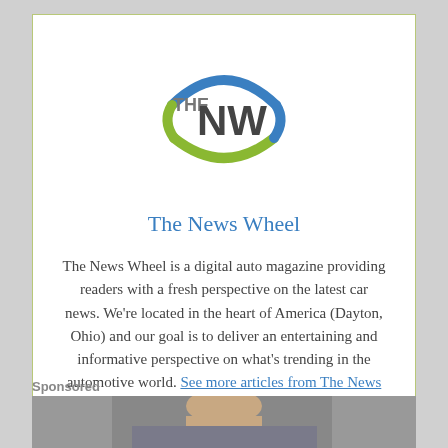[Figure (logo): The News Wheel logo — circular logo with green and blue arcs surrounding 'THE NW' text in grey/dark letters]
The News Wheel
The News Wheel is a digital auto magazine providing readers with a fresh perspective on the latest car news. We're located in the heart of America (Dayton, Ohio) and our goal is to deliver an entertaining and informative perspective on what's trending in the automotive world. See more articles from The News Wheel.
Sponsored
[Figure (photo): Partial photo of a person's face at the bottom of the page]